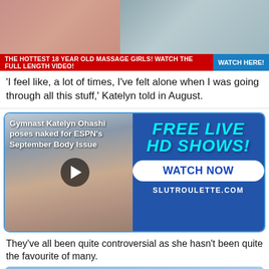[Figure (photo): Top cropped image showing two people, split view]
THE HOTTEST 18 YEAR OLD MASSAGE GIRLS! WATCH THE FULL LENGTH VIDEO! | WATCH HERE!
'I feel like, a lot of times, I've felt alone when I was going through all this stuff,' Katelyn told in August.
[Figure (screenshot): Embedded video player showing 'Gymnast Katelyn Ohashi poses naked for ESPN's September Body Issue' with overlay ad for FREE LIVE HD SHOWS! WATCH NOW at SLUTROULETTE.COM]
They've all been quite controversial as she hasn't been quite the favourite of many.
Melania Trump, the First Lady's RAUNCHIEST naked